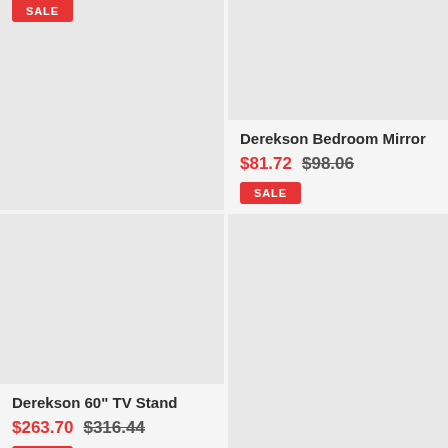[Figure (photo): Product image placeholder for item in top-left cell with SALE badge]
[Figure (photo): Product image placeholder for Derekson Bedroom Mirror]
Derekson Bedroom Mirror
$81.72  $98.06
SALE
[Figure (photo): Product image placeholder for Derekson 60" TV Stand]
Derekson 60" TV Stand
$263.70  $316.44
SALE
[Figure (photo): Product image placeholder for item in bottom-right cell]